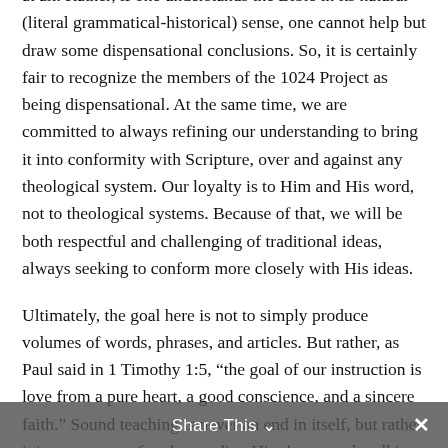(literal grammatical-historical) sense, one cannot help but draw some dispensational conclusions. So, it is certainly fair to recognize the members of the 1024 Project as being dispensational. At the same time, we are committed to always refining our understanding to bring it into conformity with Scripture, over and against any theological system. Our loyalty is to Him and His word, not to theological systems. Because of that, we will be both respectful and challenging of traditional ideas, always seeking to conform more closely with His ideas.

Ultimately, the goal here is not to simply produce volumes of words, phrases, and articles. But rather, as Paul said in 1 Timothy 1:5, “the goal of our instruction is love from a pure heart, a good conscience, and a sincere faith.” Sound teaching is never an end in itself, but rather it is our means of understanding Him better and walking with Him more closely, as He has
Share This ∨